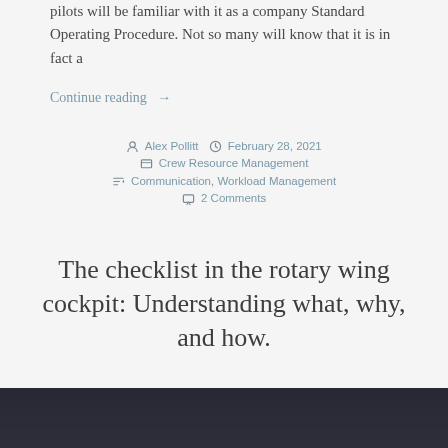pilots will be familiar with it as a company Standard Operating Procedure. Not so many will know that it is in fact a
Continue reading →
Alex Pollitt  February 28, 2021  Crew Resource Management  Communication, Workload Management  2 Comments
The checklist in the rotary wing cockpit: Understanding what, why, and how.
[Figure (photo): Photograph of a rotary wing aircraft cockpit interior, dark tones]